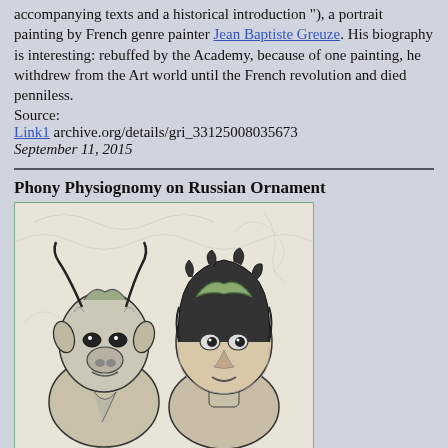accompanying texts and a historical introduction "), a portrait painting by French genre painter Jean Baptiste Greuze. His biography is interesting: rebuffed by the Academy, because of one painting, he withdrew from the Art world until the French revolution and died penniless.
Source:
Link1 archive.org/details/gri_33125008035673
September 11, 2015
Phony Physiognomy on Russian Ornament
[Figure (illustration): An engraving-style illustration showing two faces side by side — one appears to be a goat or horned animal, the other a curly-haired human figure — rendered with detailed line work on a light background with swirling ornamental patterns.]